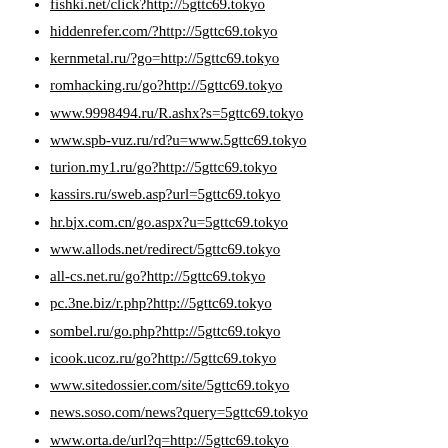fishki.net/click?http://5gttc69.tokyo
hiddenrefer.com/?http://5gttc69.tokyo
kernmetal.ru/?go=http://5gttc69.tokyo
romhacking.ru/go?http://5gttc69.tokyo
www.9998494.ru/R.ashx?s=5gttc69.tokyo
www.spb-vuz.ru/rd?u=www.5gttc69.tokyo
turion.my1.ru/go?http://5gttc69.tokyo
kassirs.ru/sweb.asp?url=5gttc69.tokyo
hr.bjx.com.cn/go.aspx?u=5gttc69.tokyo
www.allods.net/redirect/5gttc69.tokyo
all-cs.net.ru/go?http://5gttc69.tokyo
pc.3ne.biz/r.php?http://5gttc69.tokyo
sombel.ru/go.php?http://5gttc69.tokyo
icook.ucoz.ru/go?http://5gttc69.tokyo
www.sitedossier.com/site/5gttc69.tokyo
news.soso.com/news?query=5gttc69.tokyo
www.orta.de/url?q=http://5gttc69.tokyo
megalodon.jp/?url=http://5gttc69.tokyo